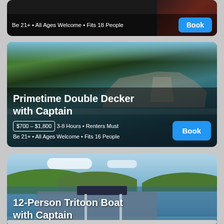[Figure (screenshot): Partial top card showing boat rental listing with Book button. Text: Be 21+ • All Ages Welcome • Fits 18 People]
Be 21+ • All Ages Welcome • Fits 18 People
[Figure (photo): Photo of Primetime Double Decker pontoon boat on lake with trees in background]
Primetime Double Decker with Captain
$700 – $1,800  3-8 Hours • Renters Must Be 21+ • All Ages Welcome • Fits 16 People
[Figure (photo): Photo of 12-Person Tritoon Boat on lake with green hills in background]
12-Person Tritoon Boat with Captain
Book Now